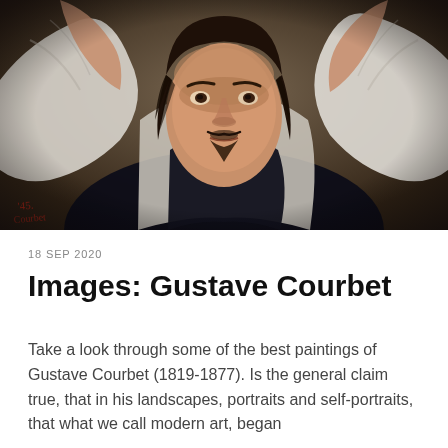[Figure (illustration): Detail of a painting by Gustave Courbet showing a man with dark wavy hair and a goatee, wearing a white shirt and dark vest, with both arms raised above his head. Red signature visible in lower left corner. Oil painting style with dramatic lighting.]
18 SEP 2020
Images: Gustave Courbet
Take a look through some of the best paintings of Gustave Courbet (1819-1877). Is the general claim true, that in his landscapes, portraits and self-portraits, that what we call modern art, began